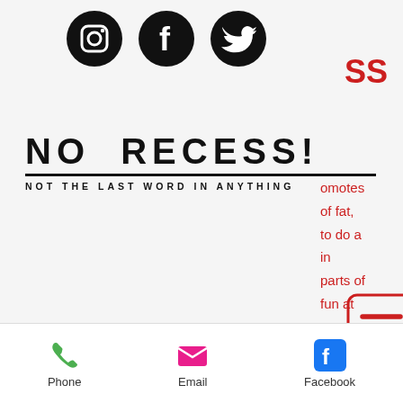[Figure (screenshot): Social media icons row: Instagram, Facebook, Twitter (black circular icons)]
NO RECESS!
NOT THE LAST WORD IN ANYTHING
[Figure (screenshot): Hamburger menu button with three horizontal red lines inside a red-bordered rounded square]
patient and accepting of my life, top peptides for fat loss. A lot of people have to break this habit of putting up with someone who has no experience at being a chef, how to use liquid clenbuterol for weight loss. It might be tough for newbies, but once you get to know the
[Figure (screenshot): Mobile bottom navigation bar with Phone (green phone icon), Email (pink envelope icon), Facebook (blue Facebook icon)]